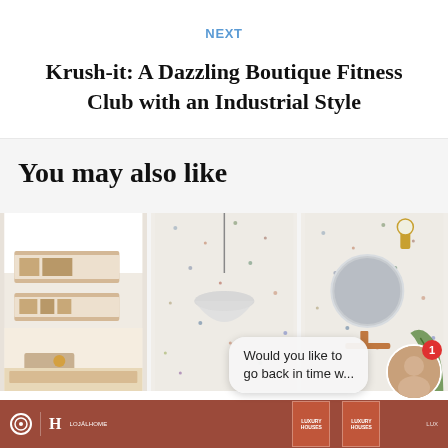NEXT
Krush-it: A Dazzling Boutique Fitness Club with an Industrial Style
You may also like
[Figure (photo): Three interior design photos side by side: a kitchen with wood shelving and terrazzo countertop, a close-up of a white pendant lamp against a terrazzo wall, and a bathroom with round mirror and gold fixtures on a terrazzo wall]
[Figure (screenshot): Bottom navigation bar with red/terracotta background showing website logos and Luxury Houses book covers, plus a chat bubble overlay and avatar]
Would you like to go back in time w...